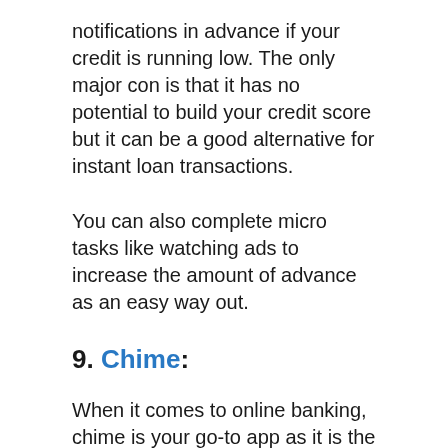notifications in advance if your credit is running low. The only major con is that it has no potential to build your credit score but it can be a good alternative for instant loan transactions.
You can also complete micro tasks like watching ads to increase the amount of advance as an easy way out.
9. Chime:
When it comes to online banking, chime is your go-to app as it is the easiest and convenient way for making online transactions. Without brick or mortar storefronts, Chime is a credit union for people in need of financial help. It offers